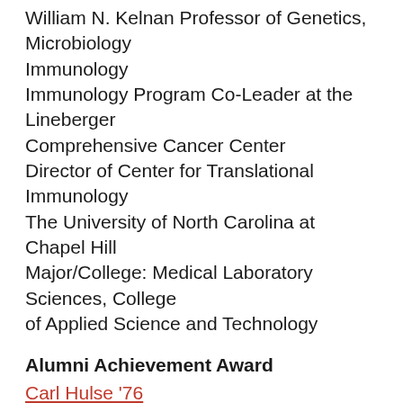William N. Kelnan Professor of Genetics, Microbiology Immunology
Immunology Program Co-Leader at the Lineberger Comprehensive Cancer Center
Director of Center for Translational Immunology
The University of North Carolina at Chapel Hill
Major/College: Medical Laboratory Sciences, College of Applied Science and Technology
Alumni Achievement Award
Carl Hulse '76
Chief Washington Correspondent, The New York Times
Major/College: Communication, College of Arts and Sciences
Dr. Tom D. Wang '77
Physician; Professor and Director at Oregon Health Science University
Major/College: Biological Sciences, College of Arts and Sciences